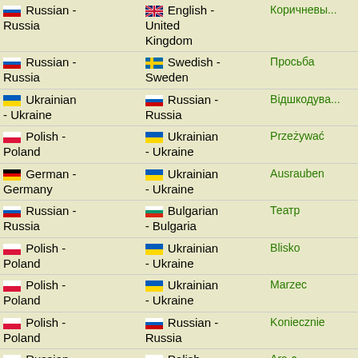| From | To | Word |
| --- | --- | --- |
| 🇷🇺 Russian - Russia | 🇬🇧 English - United Kingdom | Коричневый |
| 🇷🇺 Russian - Russia | 🇸🇪 Swedish - Sweden | Просьба |
| 🇺🇦 Ukrainian - Ukraine | 🇷🇺 Russian - Russia | Відшкодува... |
| 🇵🇱 Polish - Poland | 🇺🇦 Ukrainian - Ukraine | Przeżywać |
| 🇩🇪 German - Germany | 🇺🇦 Ukrainian - Ukraine | Ausrauben |
| 🇷🇺 Russian - Russia | 🇧🇬 Bulgarian - Bulgaria | Театр |
| 🇵🇱 Polish - Poland | 🇺🇦 Ukrainian - Ukraine | Blisko |
| 🇵🇱 Polish - Poland | 🇺🇦 Ukrainian - Ukraine | Marzec |
| 🇵🇱 Polish - Poland | 🇷🇺 Russian - Russia | Koniecznie |
| 🇷🇺 Russian - Russia | 🇵🇱 Polish - Poland | Ara-c |
| 🇷🇺 Russian - Russia | 🇱🇹 Lithuanian - Lithuania | Суд |
| 🇺🇸 English - | 🇺🇦 Ukrainian | Towards |